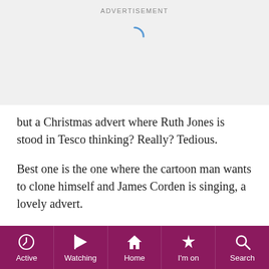[Figure (screenshot): Advertisement area with loading spinner on grey background]
but a Christmas advert where Ruth Jones is stood in Tesco thinking? Really? Tedious.
Best one is the one where the cartoon man wants to clone himself and James Corden is singing, a lovely advert.
I am sure there are some families which get together and have a really good time, we used to years ago as a big family. It wouldn't be very festive would it to see adverts with families falling out and couples splitting up, we don't want reality at Christmas, well, I don't anyway, a bit of fairy dust over proceedings will do me
Active  Watching  Home  I'm on  Search